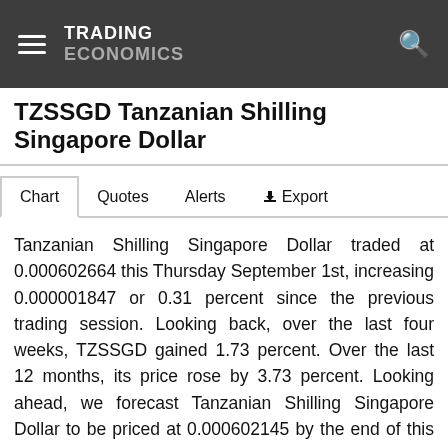TRADING ECONOMICS
TZSSGD Tanzanian Shilling Singapore Dollar
Chart   Quotes   Alerts   Export
Tanzanian Shilling Singapore Dollar traded at 0.000602664 this Thursday September 1st, increasing 0.000001847 or 0.31 percent since the previous trading session. Looking back, over the last four weeks, TZSSGD gained 1.73 percent. Over the last 12 months, its price rose by 3.73 percent. Looking ahead, we forecast Tanzanian Shilling Singapore Dollar to be priced at 0.000602145 by the end of this quarter and at 0.000612314 in one year, according to Trading Economics global macro models projections and analysts expectations.